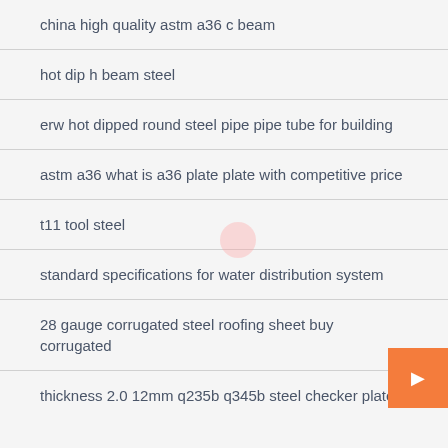china high quality astm a36 c beam
hot dip h beam steel
erw hot dipped round steel pipe pipe tube for building
astm a36 what is a36 plate plate with competitive price
t11 tool steel
standard specifications for water distribution system
28 gauge corrugated steel roofing sheet buy corrugated
thickness 2.0 12mm q235b q345b steel checker plate